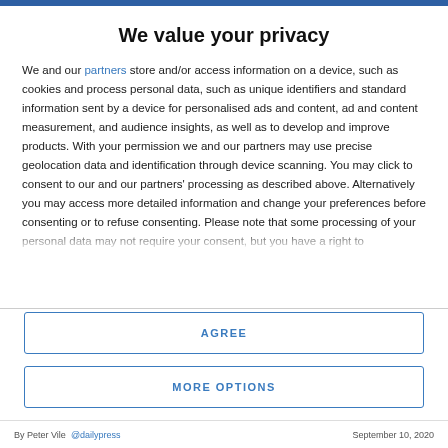We value your privacy
We and our partners store and/or access information on a device, such as cookies and process personal data, such as unique identifiers and standard information sent by a device for personalised ads and content, ad and content measurement, and audience insights, as well as to develop and improve products. With your permission we and our partners may use precise geolocation data and identification through device scanning. You may click to consent to our and our partners' processing as described above. Alternatively you may access more detailed information and change your preferences before consenting or to refuse consenting. Please note that some processing of your personal data may not require your consent, but you have a right to
AGREE
MORE OPTIONS
By Peter Vile @dailypress   September 10, 2020